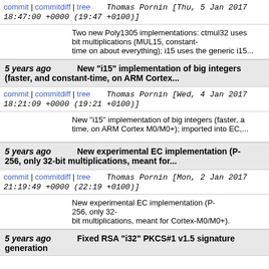commit | commitdiff | tree   Thomas Pornin [Thu, 5 Jan 2017 18:47:00 +0000 (19:47 +0100)]
Two new Poly1305 implementations: ctmul32 uses 32-bit multiplications (MUL15, constant-time on about everything); i15 uses the generic i15...
5 years ago   New "i15" implementation of big integers (faster, and constant-time, on ARM Cortex...
commit | commitdiff | tree   Thomas Pornin [Wed, 4 Jan 2017 18:21:09 +0000 (19:21 +0100)]
New "i15" implementation of big integers (faster, and constant-time, on ARM Cortex M0/M0+); imported into EC,...
5 years ago   New experimental EC implementation (P-256, only 32-bit multiplications, meant for...
commit | commitdiff | tree   Thomas Pornin [Mon, 2 Jan 2017 21:19:49 +0000 (22:19 +0100)]
New experimental EC implementation (P-256, only 32-bit multiplications, meant for Cortex-M0/M0+).
5 years ago   Fixed RSA "i32" PKCS#1 v1.5 signature generation